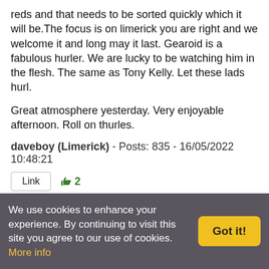reds and that needs to be sorted quickly which it will be. The focus is on limerick you are right and we welcome it and long may it last. Gearoid is a fabulous hurler. We are lucky to be watching him in the flesh. The same as Tony Kelly. Let these lads hurl.
Great atmosphere yesterday. Very enjoyable afternoon. Roll on thurles.
daveboy (Limerick) - Posts: 835 - 16/05/2022 10:48:21
Link  👍2
Replying To LohansRedHelmet:  "daveboy sure havent Limerick priors with this sort of antics too? Lets not kid ourselves here, simulation as wrong as it is, is becoming more and more widespread.
We use cookies to enhance your experience. By continuing to visit this site you agree to our use of cookies. More info  Got it!